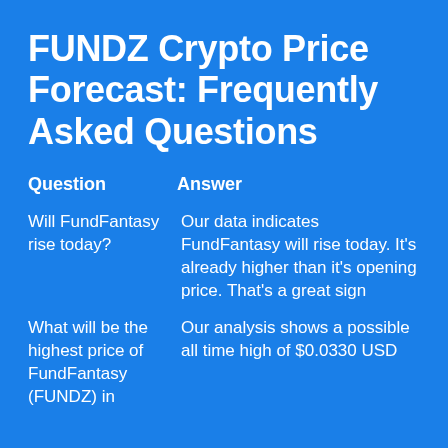FUNDZ Crypto Price Forecast: Frequently Asked Questions
| Question | Answer |
| --- | --- |
| Will FundFantasy rise today? | Our data indicates FundFantasy will rise today. It's already higher than it's opening price. That's a great sign |
| What will be the highest price of FundFantasy (FUNDZ) in | Our analysis shows a possible all time high of $0.0330 USD |